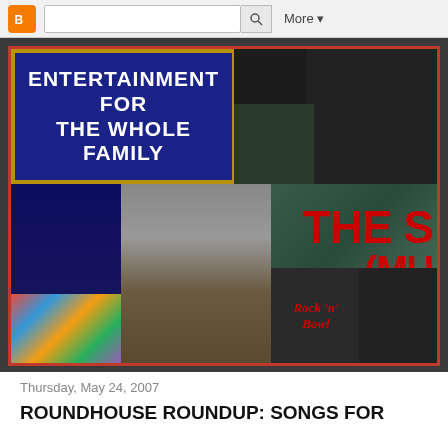[Figure (screenshot): Blogger navigation toolbar with orange Blogger icon, search box with magnifying glass, and More dropdown button]
[Figure (photo): Entertainment blog banner collage showing: marquee sign reading ENTERTAINMENT FOR THE WHOLE FAMILY with blue border and gold trim, multiple musician photos including person in colorful outfit, guitarist in overalls, person with headphones, and text overlays reading THE S and MU in red bold letters, Rock n Bowl logo]
Thursday, May 24, 2007
ROUNDHOUSE ROUNDUP: SONGS FOR